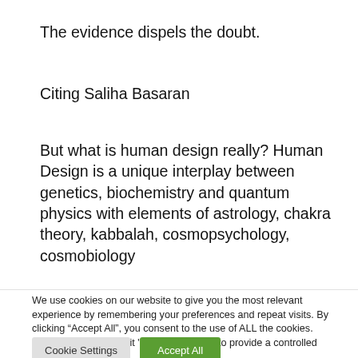The evidence dispels the doubt.
Citing Saliha Basaran
But what is human design really? Human Design is a unique interplay between genetics, biochemistry and quantum physics with elements of astrology, chakra theory, kabbalah, cosmopsychology, cosmobiology
We use cookies on our website to give you the most relevant experience by remembering your preferences and repeat visits. By clicking “Accept All”, you consent to the use of ALL the cookies. However, you may visit "Cookie Settings" to provide a controlled consent.